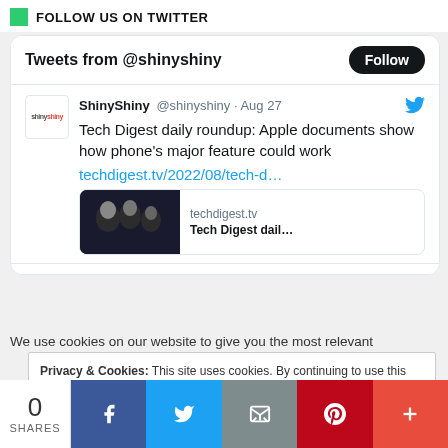FOLLOW US ON TWITTER
[Figure (screenshot): Twitter widget showing tweets from @shinyshiny with a Follow button and a tweet about Tech Digest daily roundup with a link card showing techdigest.tv]
We use cookies on our website to give you the most relevant
Privacy & Cookies: This site uses cookies. By continuing to use this website, you agree to their use.
To find out more, including how to control cookies, see here: Cookie Policy
0 SHARES | Facebook | Twitter | Email | Pinterest | More